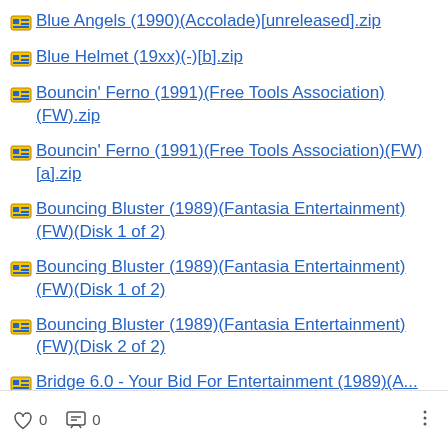Blue Angels (1990)(Accolade)[unreleased].zip
Blue Helmet (19xx)(-)[b].zip
Bouncin' Ferno (1991)(Free Tools Association)(FW).zip
Bouncin' Ferno (1991)(Free Tools Association)(FW)[a].zip
Bouncing Bluster (1989)(Fantasia Entertainment)(FW)(Disk 1 of 2)
Bouncing Bluster (1989)(Fantasia Entertainment)(FW)(Disk 1 of 2)
Bouncing Bluster (1989)(Fantasia Entertainment)(FW)(Disk 2 of 2)
Bridge 6.0 - Your Bid For Entertainment (1989)(A...
0  0